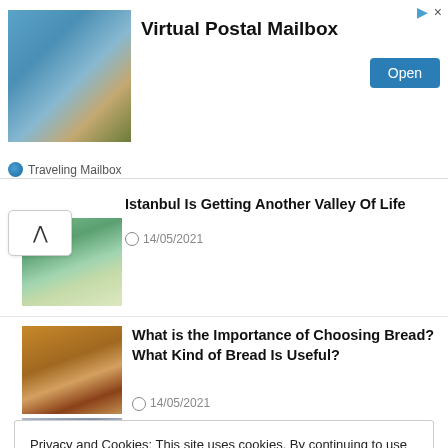[Figure (screenshot): Advertisement banner for Virtual Postal Mailbox - Traveling Mailbox with outdoor cafe image]
Istanbul Is Getting Another Valley Of Life
14/05/2021
[Figure (photo): Thumbnail image of bread loaves]
What is the Importance of Choosing Bread? What Kind of Bread Is Useful?
14/05/2021
Privacy and Cookies: This site uses cookies. By continuing to use this website, you agree to their use.
For more information on how to check cookies, see here: Cookie Policy
OK
and New Clio Hybrid